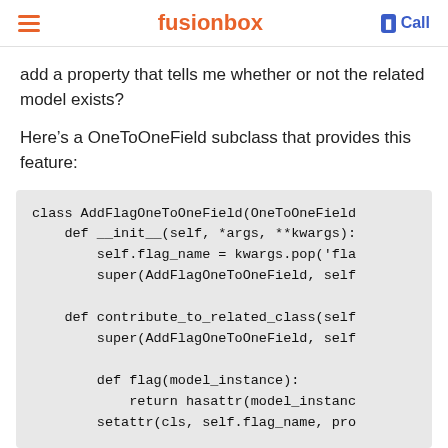fusionbox | Call
add a property that tells me whether or not the related model exists?
Here's a OneToOneField subclass that provides this feature:
class AddFlagOneToOneField(OneToOneField
    def __init__(self, *args, **kwargs):
        self.flag_name = kwargs.pop('fla
        super(AddFlagOneToOneField, self

    def contribute_to_related_class(self
        super(AddFlagOneToOneField, self

        def flag(model_instance):
            return hasattr(model_instanc
        setattr(cls, self.flag_name, pro